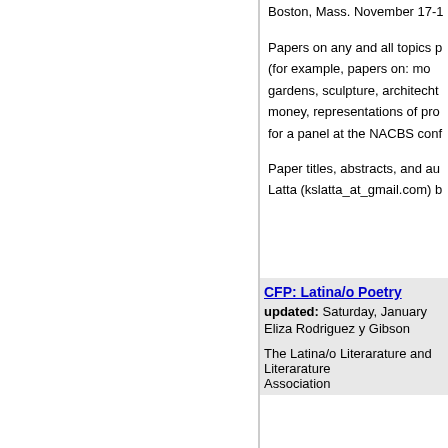Boston, Mass. November 17-1
Papers on any and all topics p (for example, papers on: mo gardens, sculpture, architecht money, representations of pr for a panel at the NACBS con
Paper titles, abstracts, and a Latta (kslatta_at_gmail.com)
CFP: Latina/o Poetry
updated: Saturday, January
Eliza Rodriguez y Gibson
The Latina/o Literarature and Literarature Association